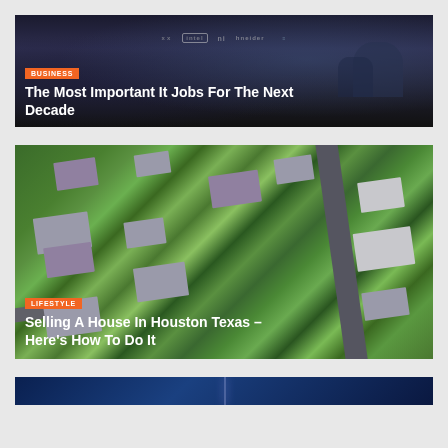[Figure (photo): Dark background photo of a person at a tech conference with Intel and other brand logos visible. Article card for 'The Most Important It Jobs For The Next Decade' with BUSINESS badge.]
[Figure (photo): Aerial view of a suburban neighborhood with houses, green lawns, and a road. Article card for 'Selling A House In Houston Texas – Here's How To Do It' with LIFESTYLE badge.]
[Figure (photo): Partial view of a dark blue image, possibly lightning or a vertical light streak. Third article card, partially visible.]